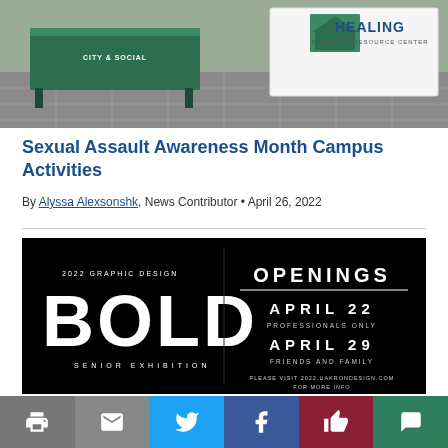[Figure (photo): Photo of a table with green tablecloth and a 'Healing Survivor Resource Center' banner in a hallway with tiled floor]
Sexual Assault Awareness Month Campus Activities
By Alyssa Alexsonshk, News Contributor • April 26, 2022
[Figure (photo): Black background promotional flyer for '2022 Graphic Design BOLD Senior Exhibition' with openings April 22 (Professionals Only) and April 29 (Friends and Family). Visit 2022.uakrondesign.com for more info.]
Print | Email | Twitter | Facebook | Like | Comment